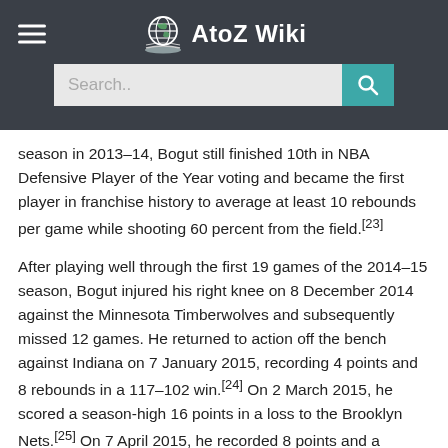AtoZ Wiki
season in 2013–14, Bogut still finished 10th in NBA Defensive Player of the Year voting and became the first player in franchise history to average at least 10 rebounds per game while shooting 60 percent from the field.[23]
After playing well through the first 19 games of the 2014–15 season, Bogut injured his right knee on 8 December 2014 against the Minnesota Timberwolves and subsequently missed 12 games. He returned to action off the bench against Indiana on 7 January 2015, recording 4 points and 8 rebounds in a 117–102 win.[24] On 2 March 2015, he scored a season-high 16 points in a loss to the Brooklyn Nets.[25] On 7 April 2015, he recorded 8 points and a career-high 9 blocks in a loss to the New Orleans Pelicans.[26] Bogut and the Warriors won the 2015 NBA Finals after defeating the Cleveland Cavaliers in six games.